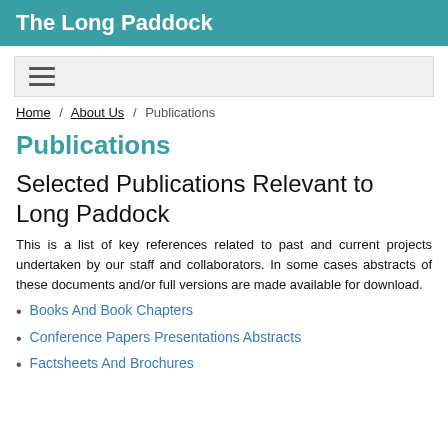The Long Paddock
Home / About Us / Publications
Publications
Selected Publications Relevant to Long Paddock
This is a list of key references related to past and current projects undertaken by our staff and collaborators. In some cases abstracts of these documents and/or full versions are made available for download.
Books And Book Chapters
Conference Papers Presentations Abstracts
Factsheets And Brochures